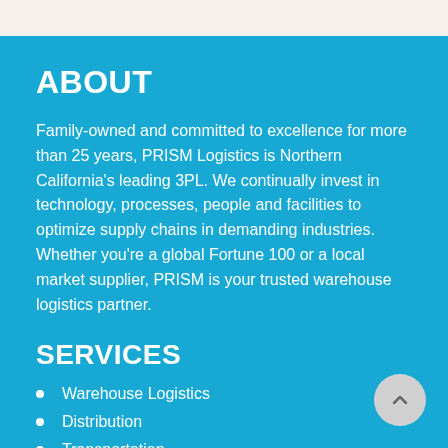ABOUT
Family-owned and committed to excellence for more than 25 years, PRISM Logistics is Northern California's leading 3PL. We continually invest in technology, processes, people and facilities to optimize supply chains in demanding industries. Whether you're a global Fortune 100 or a local market supplier, PRISM is your trusted warehouse logistics partner.
SERVICES
Warehouse Logistics
Distribution
Transportation
Value-Add Services